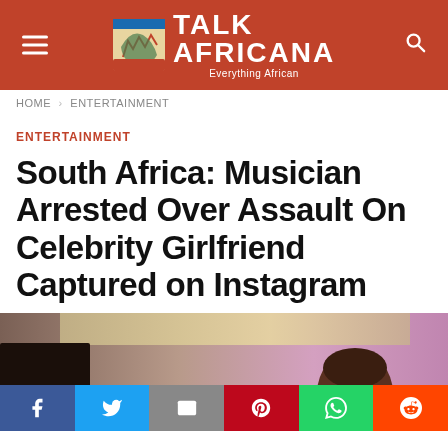Talk Africana — Everything African
HOME > ENTERTAINMENT
ENTERTAINMENT
South Africa: Musician Arrested Over Assault On Celebrity Girlfriend Captured on Instagram
[Figure (photo): Photo of a person at an event with purple and warm lighting in the background]
Social share buttons: Facebook, Twitter, Gmail/Email, Pinterest, WhatsApp, Reddit